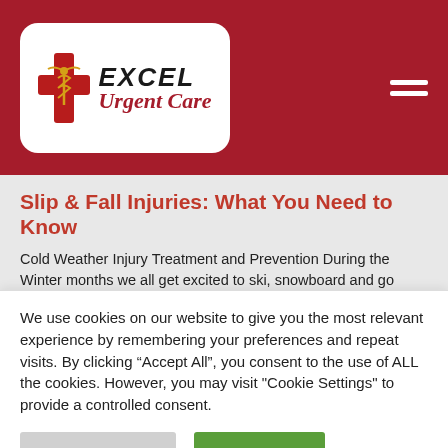[Figure (logo): Excel Urgent Care logo with red cross and caduceus symbol on white rounded rectangle background, set on dark red header bar with hamburger menu icon top right]
Slip & Fall Injuries: What You Need to Know
Cold Weather Injury Treatment and Prevention During the Winter months we all get excited to ski, snowboard and go sledding. Along with the fun activities Winter brings comes cleaning up snow, shoveling, snow blowing and exposure to unsteady walkways. Injuries occur often and a lot require
We use cookies on our website to give you the most relevant experience by remembering your preferences and repeat visits. By clicking “Accept All”, you consent to the use of ALL the cookies. However, you may visit "Cookie Settings" to provide a controlled consent.